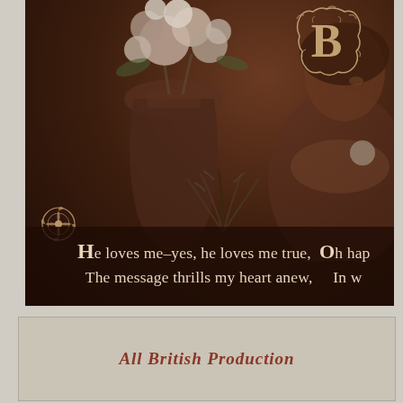[Figure (photo): Vintage sepia-toned postcard photograph showing a woman holding flowers with a large ornate vase of roses behind her. A decorative monogram letter appears in the upper right. An ornamental flourish decorates the lower left. Overlaid poem text reads: 'He loves me–yes, he loves me true, Oh hap... / The message thrills my heart anew, In w...']
He loves me–yes, he loves me true, Oh hap... The message thrills my heart anew, In w...
All British Production